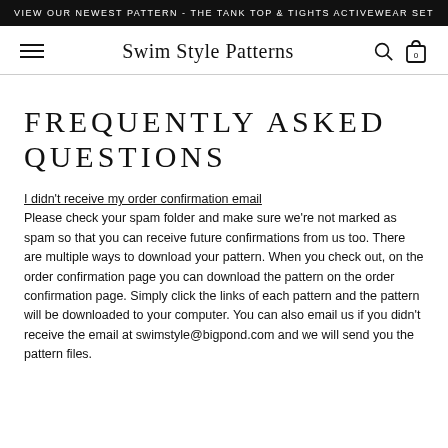VIEW OUR NEWEST PATTERN - THE TANK TOP & TIGHTS ACTIVEWEAR SET
Swim Style Patterns
FREQUENTLY ASKED QUESTIONS
I didn't receive my order confirmation email
Please check your spam folder and make sure we're not marked as spam so that you can receive future confirmations from us too. There are multiple ways to download your pattern. When you check out, on the order confirmation page you can download the pattern on the order confirmation page. Simply click the links of each pattern and the pattern will be downloaded to your computer. You can also email us if you didn't receive the email at swimstyle@bigpond.com and we will send you the pattern files.